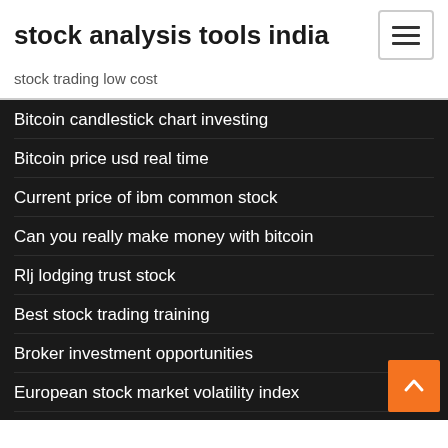stock analysis tools india
stock trading low cost
Bitcoin candlestick chart investing
Bitcoin price usd real time
Current price of ibm common stock
Can you really make money with bitcoin
Rlj lodging trust stock
Best stock trading training
Broker investment opportunities
European stock market volatility index
Fx blue sign up
Can you really make money with bitcoin